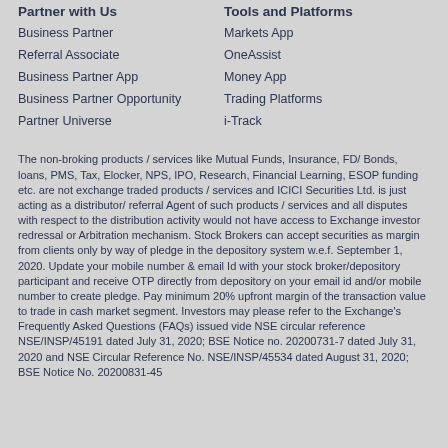Partner with Us
Tools and Platforms
Business Partner
Markets App
Referral Associate
OneAssist
Business Partner App
Money App
Business Partner Opportunity
Trading Platforms
Partner Universe
i-Track
The non-broking products / services like Mutual Funds, Insurance, FD/ Bonds, loans, PMS, Tax, Elocker, NPS, IPO, Research, Financial Learning, ESOP funding etc. are not exchange traded products / services and ICICI Securities Ltd. is just acting as a distributor/ referral Agent of such products / services and all disputes with respect to the distribution activity would not have access to Exchange investor redressal or Arbitration mechanism. Stock Brokers can accept securities as margin from clients only by way of pledge in the depository system w.e.f. September 1, 2020. Update your mobile number & email Id with your stock broker/depository participant and receive OTP directly from depository on your email id and/or mobile number to create pledge. Pay minimum 20% upfront margin of the transaction value to trade in cash market segment. Investors may please refer to the Exchange's Frequently Asked Questions (FAQs) issued vide NSE circular reference NSE/INSP/45191 dated July 31, 2020; BSE Notice no. 20200731-7 dated July 31, 2020 and NSE Circular Reference No. NSE/INSP/45534 dated August 31, 2020; BSE Notice No. 20200831-45